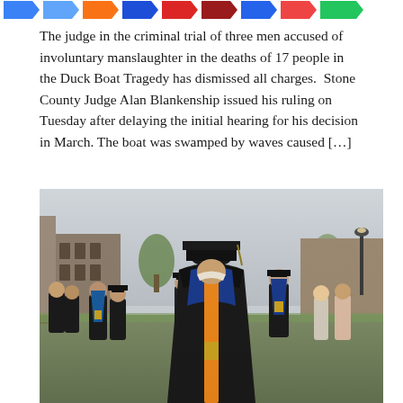[Figure (other): Social media sharing icons bar at top of page — colored arrow/chevron shapes in blue, orange, dark blue, red, dark red, blue, red, green]
The judge in the criminal trial of three men accused of involuntary manslaughter in the deaths of 17 people in the Duck Boat Tragedy has dismissed all charges.  Stone County Judge Alan Blankenship issued his ruling on Tuesday after delaying the initial hearing for his decision in March. The boat was swamped by waves caused [...]
[Figure (photo): Outdoor graduation ceremony photo showing graduates from behind wearing black graduation gowns and caps with blue and orange/gold sashes and stoles, gathered on a campus lawn with brick buildings and trees in the background under an overcast sky]